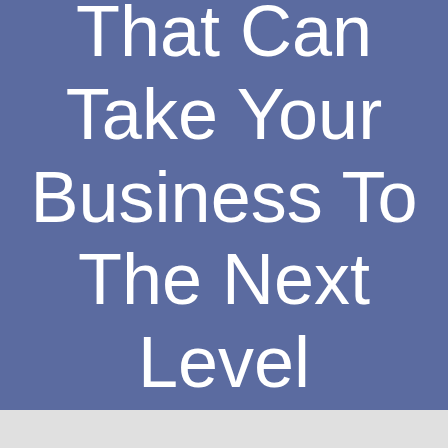That Can Take Your Business To The Next Level